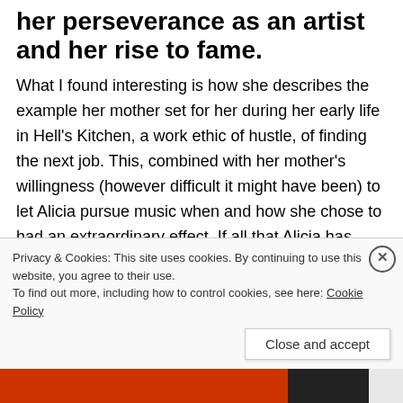her perseverance as an artist and her rise to fame.
What I found interesting is how she describes the example her mother set for her during her early life in Hell's Kitchen, a work ethic of hustle, of finding the next job. This, combined with her mother's willingness (however difficult it might have been) to let Alicia pursue music when and how she chose to had an extraordinary effect. If all that Alicia has
Privacy & Cookies: This site uses cookies. By continuing to use this website, you agree to their use.
To find out more, including how to control cookies, see here: Cookie Policy